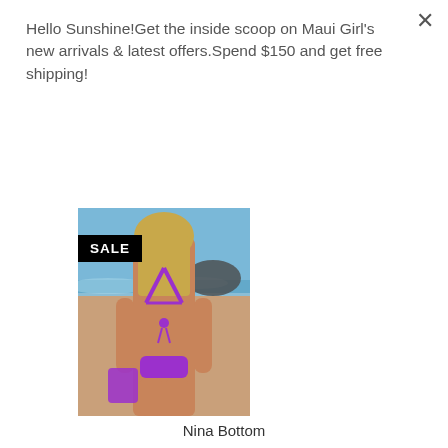Hello Sunshine!Get the inside scoop on Maui Girl's new arrivals & latest offers.Spend $150 and get free shipping!
Sign Up For 15% Off
[Figure (photo): Woman in purple bikini seen from behind on beach, carrying purple bag, with SALE badge overlay]
Nina Bottom
3 reviews
$21.00 $58.00
[Figure (other): Color swatches: purple, teal/cyan, black, dark purple]